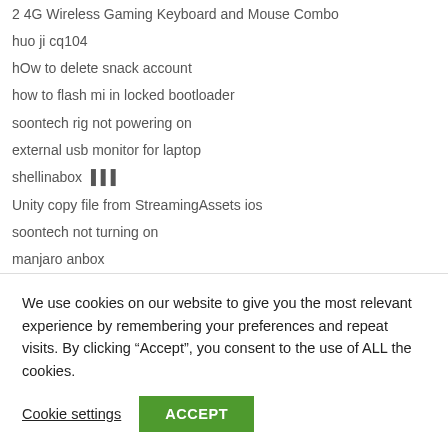2 4G Wireless Gaming Keyboard and Mouse Combo
huo ji cq104
hOw to delete snack account
how to flash mi in locked bootloader
soontech rig not powering on
external usb monitor for laptop
shellinabox ███
Unity copy file from StreamingAssets ios
soontech not turning on
manjaro anbox
1 To 1 Hosting
1&1 Hosting
We use cookies on our website to give you the most relevant experience by remembering your preferences and repeat visits. By clicking “Accept”, you consent to the use of ALL the cookies.
Cookie settings  ACCEPT